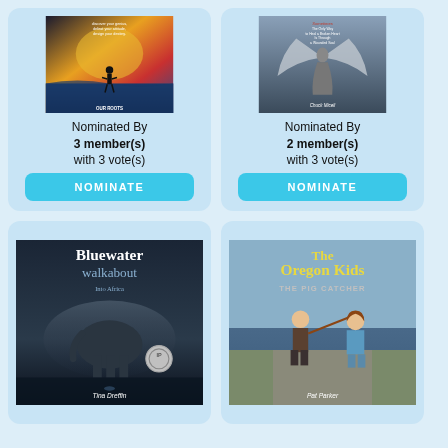[Figure (illustration): Book cover - figure of person standing on waves with colorful sky, text 'discover your genius, defeat your attitude, design your destiny', bottom text 'OUR ROOTS']
Nominated By
3 member(s)
with 3 vote(s)
NOMINATE
[Figure (illustration): Book cover - angel figure with gray wings, text 'Sometimes The Only Way to Heal a Broken Heart Is Through a Wounded Soul', author 'Chuck Miceli']
Nominated By
2 member(s)
with 3 vote(s)
NOMINATE
[Figure (illustration): Book cover - 'Bluewater walkabout Into Africa' by Tina Dreffin, showing an elephant emerging from misty water, with IP award medallion]
[Figure (illustration): Book cover - 'The Oregon Kids THE PIG CATCHER', illustrated children's book showing cartoon boy and girl with a fishing pole]